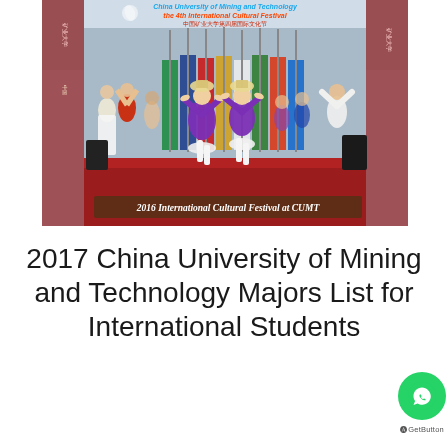[Figure (photo): Photo of performers in traditional/folk costumes dancing on a red stage at the 2016 International Cultural Festival at CUMT (China University of Mining and Technology), with colorful national flags in the background and a banner overhead.]
2016 International Cultural Festival at CUMT
2017 China University of Mining and Technology Majors List for International Students